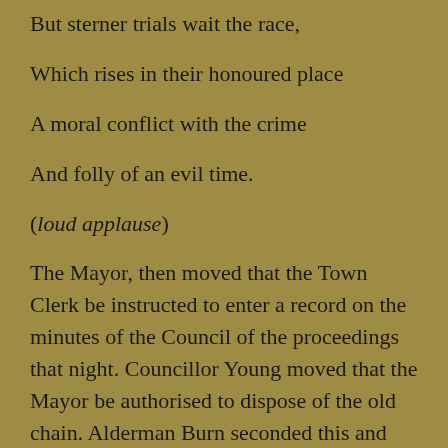But sterner trials wait the race,
Which rises in their honoured place
A moral conflict with the crime
And folly of an evil time.
(loud applause)
The Mayor, then moved that the Town Clerk be instructed to enter a record on the minutes of the Council of the proceedings that night. Councillor Young moved that the Mayor be authorised to dispose of the old chain. Alderman Burn seconded this and the motion was carried.
The public were then allowed to come up and inspect the chain and other articles of